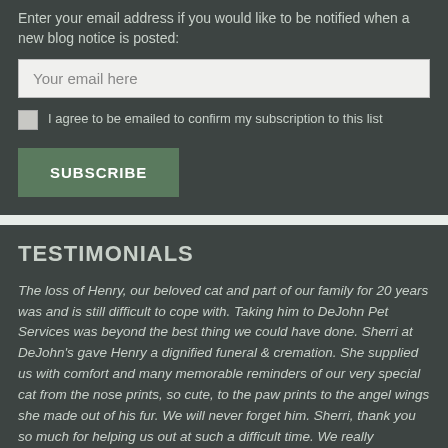Enter your email address if you would like to be notified when a new blog notice is posted:
Your email here
I agree to be emailed to confirm my subscription to this list
SUBSCRIBE
TESTIMONIALS
The loss of Henry, our beloved cat and part of our family for 20 years was and is still difficult to cope with. Taking him to DeJohn Pet Services was beyond the best thing we could have done. Sherri at DeJohn's gave Henry a dignified funeral & cremation. She supplied us with comfort and many memorable reminders of our very special cat from the nose prints, so cute, to the paw prints to the angel wings she made out of his fur. We will never forget him. Sherri, thank you so much for helping us out at such a difficult time. We really appreciate your excellent help with our very special cat Henry